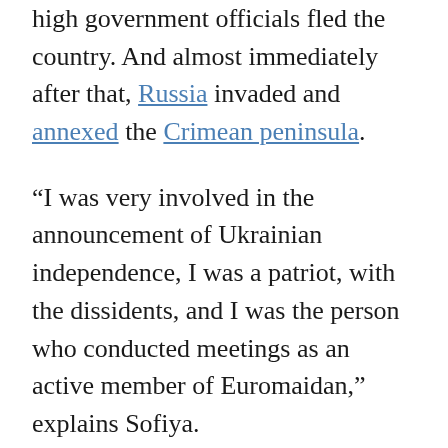high government officials fled the country. And almost immediately after that, Russia invaded and annexed the Crimean peninsula.
“I was very involved in the announcement of Ukrainian independence, I was a patriot, with the dissidents, and I was the person who conducted meetings as an active member of Euromaidan,” explains Sofiya.
And, after the Russian invasion, she became extremely active in supporting Ukrainian soldiers on the frontlines, raising money and awareness, and bringing supplies to the soldiers. “I am professional singer and I raised thousands of dollars for the Ukrainian army. My first task is to make sure that my soldiers come back from